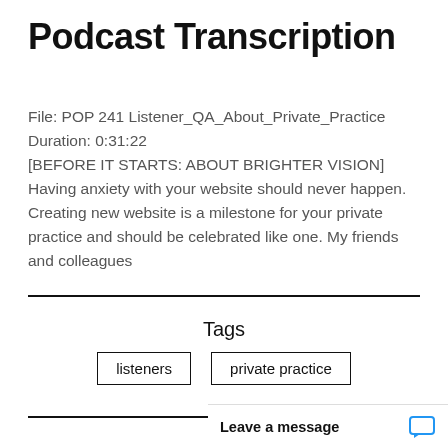Podcast Transcription
File: POP 241 Listener_QA_About_Private_Practice
Duration: 0:31:22
[BEFORE IT STARTS: ABOUT BRIGHTER VISION] Having anxiety with your website should never happen. Creating new website is a milestone for your private practice and should be celebrated like one. My friends and colleagues
Tags
listeners
private practice
Leave a message